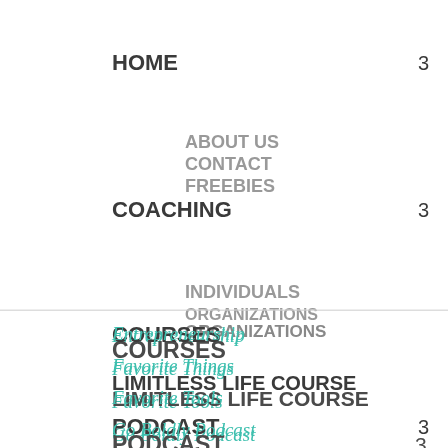HOME  3
ABOUT US
CONTACT
FREEBIES
COACHING  3
INDIVIDUALS
ORGANIZATIONS
COURSES
LIMITLESS LIFE COURSE
PODCAST  3
EPISODES
RESOURCES
BLOG
PATREON
SHOP
Entrepreneurship
Favorite Things
Favorite Tools
Go Boldly Podcast
Goals